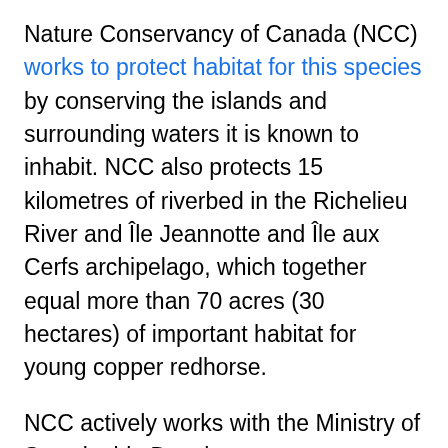Nature Conservancy of Canada (NCC) works to protect habitat for this species by conserving the islands and surrounding waters it is known to inhabit. NCC also protects 15 kilometres of riverbed in the Richelieu River and Île Jeannotte and Île aux Cerfs archipelago, which together equal more than 70 acres (30 hectares) of important habitat for young copper redhorse.
NCC actively works with the Ministry of Sustainable Development, Environment and Parks in Quebec to keep this species safe. To remedy the habitat loss, NCC launched a campaign in 2006 to naturalize the riverbanks along the Richelieu River. The campaign, which involves numerous stewardship projects to